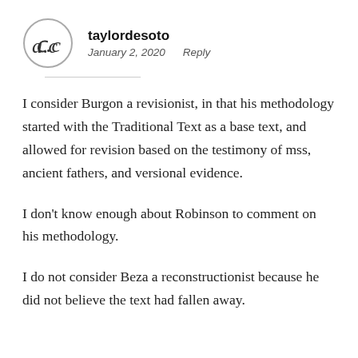taylordesoto
January 2, 2020   Reply
I consider Burgon a revisionist, in that his methodology started with the Traditional Text as a base text, and allowed for revision based on the testimony of mss, ancient fathers, and versional evidence.
I don't know enough about Robinson to comment on his methodology.
I do not consider Beza a reconstructionist because he did not believe the text had fallen away.